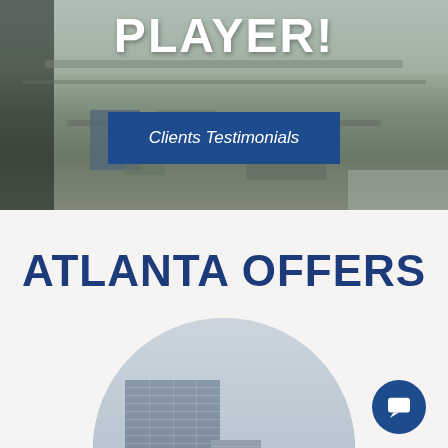[Figure (photo): Aerial view of Atlanta cityscape with industrial/commercial buildings, roads, and green trees viewed from above]
PLAYER!
Clients Testimonials
ATLANTA OFFERS
[Figure (photo): Circular cropped photo of Atlanta skyscraper/high-rise building against a cloudy sky]
[Figure (other): Dark blue circular chat/message button with speech bubble icon in bottom right corner]